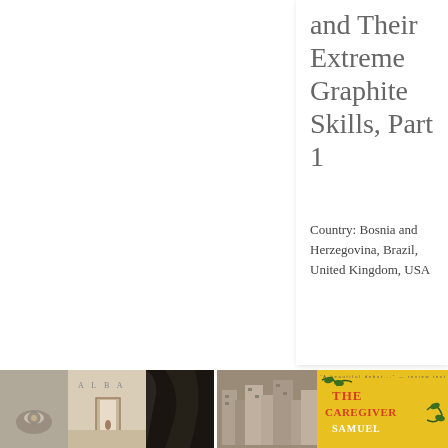and Their Extreme Graphite Skills, Part 1
Country: Bosnia and Herzegovina, Brazil, United Kingdom, USA
[Figure (photo): Collage of three images: a hand holding a small object, a desert doorway scene with text ALBA, and dark hair close-up]
[Figure (photo): Book cover of 'The Caregiver' by Samuel, on yellow background with leaf vines, next to a photo of favela buildings]